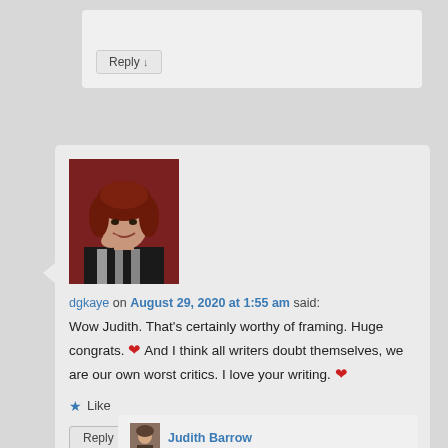Reply ↓
[Figure (photo): Profile photo of dgkaye — a woman with curly red-brown hair, smiling, wearing a striped top, against a red background]
dgkaye on August 29, 2020 at 1:55 am said:
Wow Judith. That's certainly worthy of framing. Huge congrats. ❤ And I think all writers doubt themselves, we are our own worst critics. I love your writing. ❤
★ Like
Reply ↓
Judith Barrow